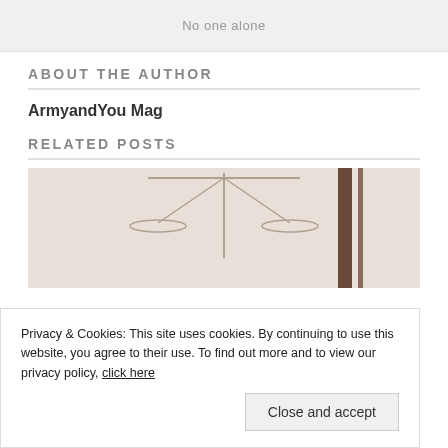No one alone
ABOUT THE AUTHOR
ArmyandYou Mag
RELATED POSTS
[Figure (photo): Photo related to related posts section showing scales of justice and a gavel, partially visible]
Privacy & Cookies: This site uses cookies. By continuing to use this website, you agree to their use. To find out more and to view our privacy policy, click here
Close and accept